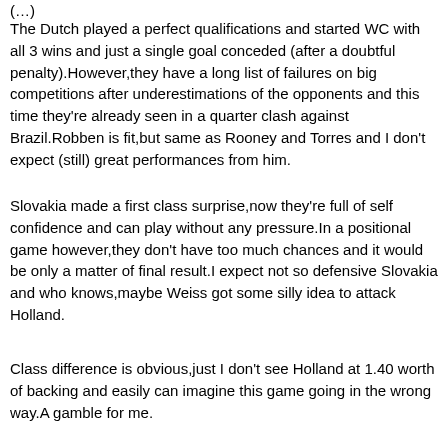(…)
The Dutch played a perfect qualifications and started WC with all 3 wins and just a single goal conceded (after a doubtful penalty).However,they have a long list of failures on big competitions after underestimations of the opponents and this time they're already seen in a quarter clash against Brazil.Robben is fit,but same as Rooney and Torres and I don't expect (still) great performances from him.
Slovakia made a first class surprise,now they're full of self confidence and can play without any pressure.In a positional game however,they don't have too much chances and it would be only a matter of final result.I expect not so defensive Slovakia and who knows,maybe Weiss got some silly idea to attack Holland.
Class difference is obvious,just I don't see Holland at 1.40 worth of backing and easily can imagine this game going in the wrong way.A gamble for me.